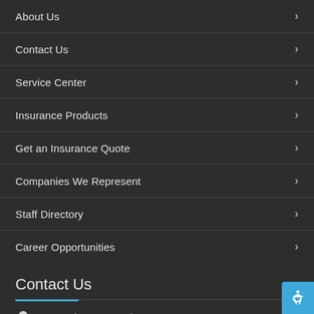About Us
Contact Us
Service Center
Insurance Products
Get an Insurance Quote
Companies We Represent
Staff Directory
Career Opportunities
Contact Us
1430 Palm Bay Road NE